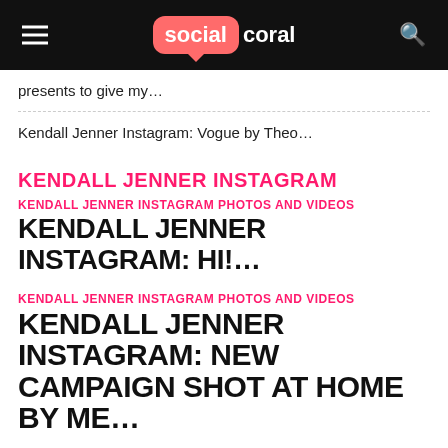social coral
presents to give my…
Kendall Jenner Instagram: Vogue by Theo…
KENDALL JENNER INSTAGRAM
KENDALL JENNER INSTAGRAM PHOTOS AND VIDEOS
KENDALL JENNER INSTAGRAM: HI!…
KENDALL JENNER INSTAGRAM PHOTOS AND VIDEOS
KENDALL JENNER INSTAGRAM: NEW CAMPAIGN SHOT AT HOME BY ME…